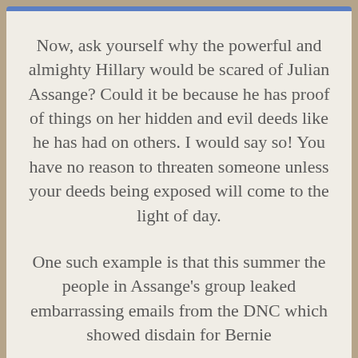Now, ask yourself why the powerful and almighty Hillary would be scared of Julian Assange? Could it be because he has proof of things on her hidden and evil deeds like he has had on others. I would say so! You have no reason to threaten someone unless your deeds being exposed will come to the light of day.
One such example is that this summer the people in Assange's group leaked embarrassing emails from the DNC which showed disdain for Bernie